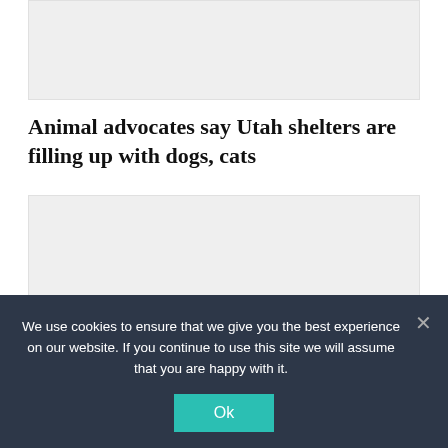[Figure (other): Gray placeholder image box at top of page]
Animal advocates say Utah shelters are filling up with dogs, cats
[Figure (other): Gray placeholder image box with 'No Preview' watermark text]
We use cookies to ensure that we give you the best experience on our website. If you continue to use this site we will assume that you are happy with it.